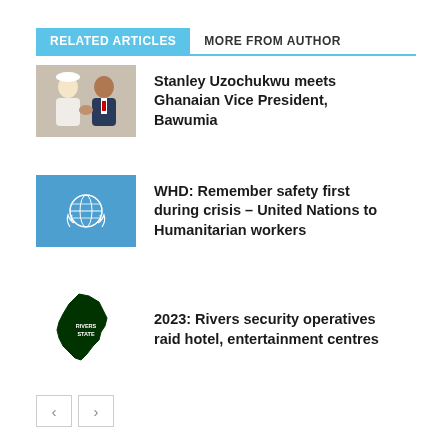RELATED ARTICLES
MORE FROM AUTHOR
[Figure (photo): Two men shaking hands indoors, one wearing a white hat and traditional attire, the other in a suit]
Stanley Uzochukwu meets Ghanaian Vice President, Bawumia
[Figure (illustration): United Nations flag – blue background with white UN emblem (globe with olive branches)]
WHD: Remember safety first during crisis – United Nations to Humanitarian workers
[Figure (illustration): Rivers State map silhouette in dark green with 'RIVERS STATE' text label]
2023: Rivers security operatives raid hotel, entertainment centres